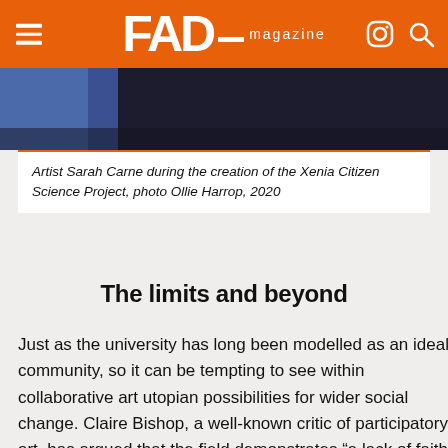FAD magazine
[Figure (photo): Partial photo of Artist Sarah Carne, dark background with blue area visible at left edge]
Artist Sarah Carne during the creation of the Xenia Citizen Science Project, photo Ollie Harrop, 2020
The limits and beyond
Just as the university has long been modelled as an ideal community, so it can be tempting to see within collaborative art utopian possibilities for wider social change. Claire Bishop, a well-known critic of participatory art, has argued that the field demonstrates “a lack of faith in the intrinsic value of art and lack of faith in democratic political processes”. Bishop’s thesis